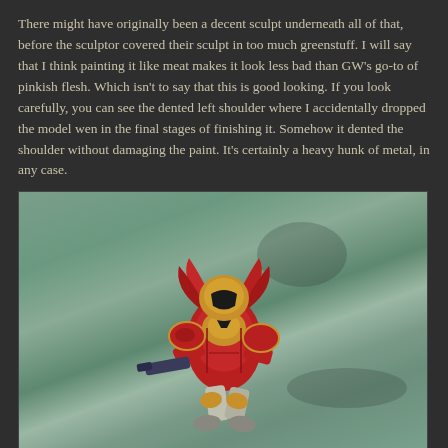There might have originally been a decent sculpt underneath all of that, before the sculptor covered their sculpt in too much greenstuff. I will say that I think painting it like meat makes it look less bad than GW's go-to of pinkish flesh. Which isn't to say that this is good looking. If you look carefully, you can see the dented left shoulder where I accidentally dropped the model wen in the final stages of finishing it. Somehow it dented the shoulder without damaging the paint. It's certainly a heavy hunk of metal, in any case.
[Figure (photo): A painted Warhammer 40K miniature figure in red and gold armor, posed in a dynamic forward-leaning action stance, photographed against a blurred green-grey background.]